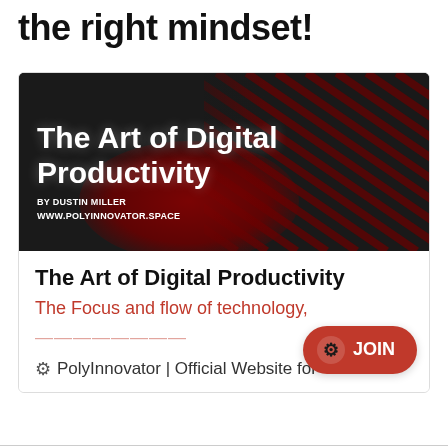the right mindset!
[Figure (illustration): Book cover for 'The Art of Digital Productivity' by Dustin Miller, www.polyinnovator.space. Dark background with red diagonal stripes and a red abstract blob shape. White bold text for title.]
The Art of Digital Productivity
The Focus and flow of technology,
PolyInnovator | Official Website for
JOIN